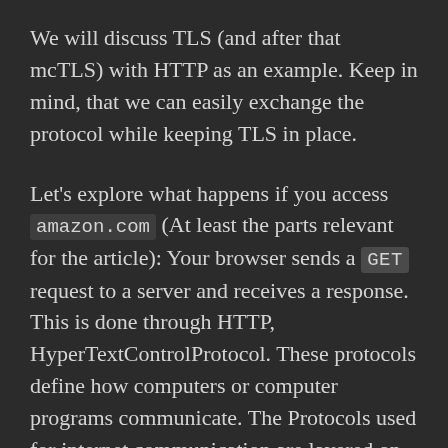We will discuss TLS (and after that mcTLS) with HTTP as an example. Keep in mind, that we can easily exchange the protocol while keeping TLS in place.
Let's explore what happens if you access amazon.com (At least the parts relevant for the article): Your browser sends a GET request to a server and receives a response. This is done through HTTP, HyperTextControlProtocol. These protocols define how computers or computer programs communicate. The Protocols used for internet communication are layered on top of each other. This means that one protocol is conveyed by another and they don't know of each other and hence they can be